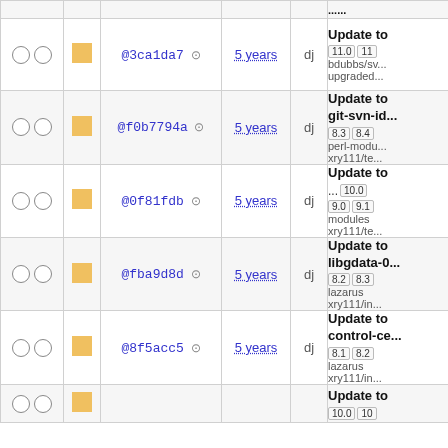| select | status | hash | age | user | info |
| --- | --- | --- | --- | --- | --- |
| ○ ○ | ■ | @3ca1da7 ⚙ | 5 years | dj | Update to...
11.0 11...
bdubbs/sv...
upgraded... |
| ○ ○ | ■ | @f0b7794a ⚙ | 5 years | dj | Update to...
git-svn-id...
8.3 8.4...
perl-modu...
xry111/te... |
| ○ ○ | ■ | @0f81fdb ⚙ | 5 years | dj | Update to...
... 10.0
9.0 9.1...
modules...
xry111/te... |
| ○ ○ | ■ | @fba9d8d ⚙ | 5 years | dj | Update to...
libgdata-0...
8.2 8.3...
lazarus...
xry111/in... |
| ○ ○ | ■ | @8f5acc5 ⚙ | 5 years | dj | Update to...
control-ce...
8.1 8.2...
lazarus...
xry111/in... |
| ○ ○ | ■ |  |  |  | Update to...
10.0 10... |